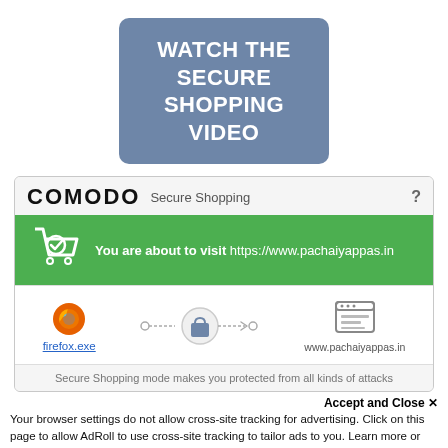[Figure (screenshot): Blue-grey button with white bold text: WATCH THE SECURE SHOPPING VIDEO]
[Figure (screenshot): Comodo Secure Shopping dialog box showing Firefox to website secure tunnel, with green banner 'You are about to visit https://www.pachaiyappas.in']
Accept and Close ×
Your browser settings do not allow cross-site tracking for advertising. Click on this page to allow AdRoll to use cross-site tracking to tailor ads to you. Learn more or opt out of this AdRoll tracking by clicking here. This message only appears once.